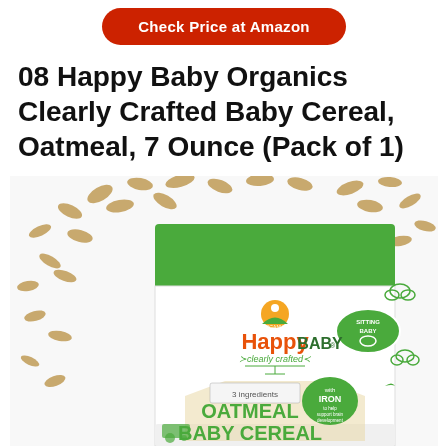[Figure (other): Red rounded rectangle button with white bold text reading 'Check Price at Amazon']
08 Happy Baby Organics Clearly Crafted Baby Cereal, Oatmeal, 7 Ounce (Pack of 1)
[Figure (photo): Product photo of Happy Baby Organics Clearly Crafted Oatmeal Baby Cereal package. White and green packaging with oat grains scattered around. Label shows 'ORGANICS HappyBABY clearly crafted', '3 ingredients', 'with IRON to help support brain development', 'OATMEAL BABY CEREAL', 'SITTING BABY' badge, and green illustrated tractor and cloud icons.]